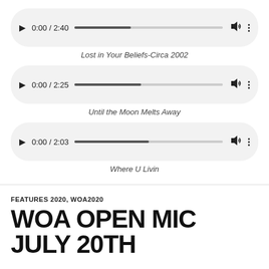[Figure (screenshot): Audio player 1 showing 0:00 / 2:40 with progress bar]
Lost in Your Beliefs-Circa 2002
[Figure (screenshot): Audio player 2 showing 0:00 / 2:25 with progress bar]
Until the Moon Melts Away
[Figure (screenshot): Audio player 3 showing 0:00 / 2:03 with progress bar]
Where U Livin
FEATURES 2020, WOA2020
WOA OPEN MIC JULY 20TH